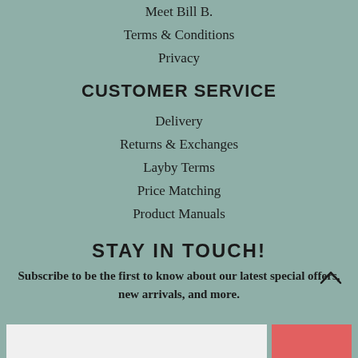Meet Bill B.
Terms & Conditions
Privacy
CUSTOMER SERVICE
Delivery
Returns & Exchanges
Layby Terms
Price Matching
Product Manuals
STAY IN TOUCH!
Subscribe to be the first to know about our latest special offers, new arrivals, and more.